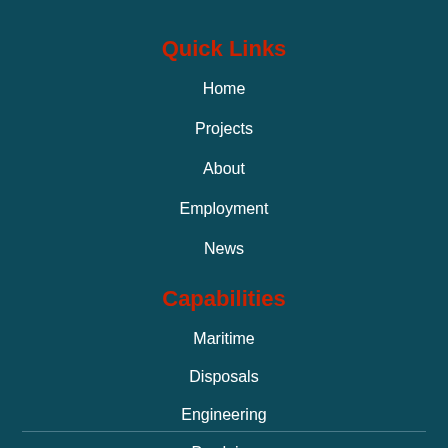Quick Links
Home
Projects
About
Employment
News
Capabilities
Maritime
Disposals
Engineering
Dredging
Marine Propulsion